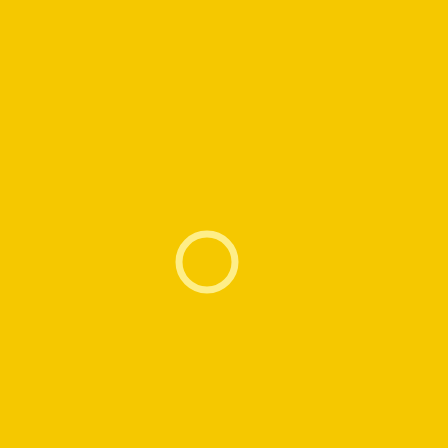[Figure (illustration): Solid bright yellow background with a small semi-transparent light yellow circle ring (annulus) positioned slightly left of center horizontally and slightly below center vertically.]